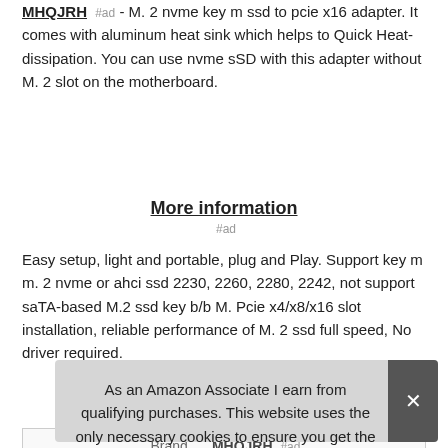MHQJRH #ad - M. 2 nvme key m ssd to pcie x16 adapter. It comes with aluminum heat sink which helps to Quick Heat-dissipation. You can use nvme sSD with this adapter without M. 2 slot on the motherboard.
More information #ad
Easy setup, light and portable, plug and Play. Support key m m. 2 nvme or ahci ssd 2230, 2260, 2280, 2242, not support saTA-based M.2 ssd key b/b M. Pcie x4/x8/x16 slot installation, reliable performance of M. 2 ssd full speed, No driver required.
|  |  |
| --- | --- |
| Brand | MHQJRH #ad |
| Ma |  |
As an Amazon Associate I earn from qualifying purchases. This website uses the only necessary cookies to ensure you get the best experience on our website. More information